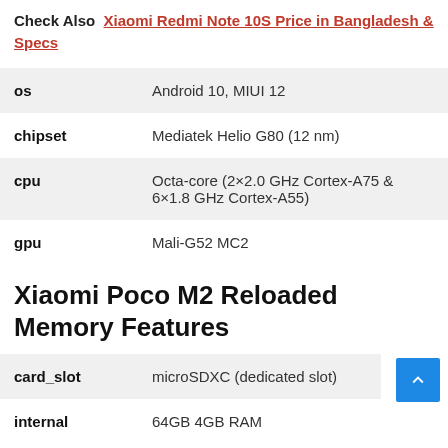Check Also  Xiaomi Redmi Note 10S Price in Bangladesh & Specs
| os | Android 10, MIUI 12 |
| chipset | Mediatek Helio G80 (12 nm) |
| cpu | Octa-core (2×2.0 GHz Cortex-A75 & 6×1.8 GHz Cortex-A55) |
| gpu | Mali-G52 MC2 |
Xiaomi Poco M2 Reloaded Memory Features
| card_slot | microSDXC (dedicated slot) |
| internal | 64GB 4GB RAM |